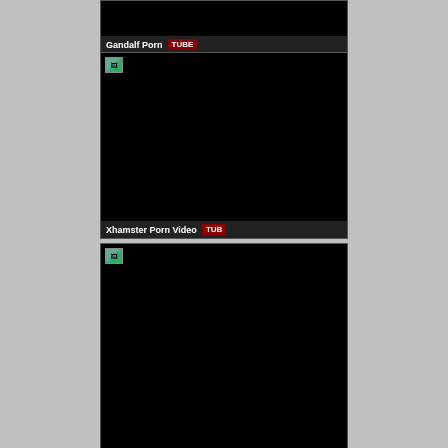[Figure (screenshot): Black thumbnail image area, top card partially visible]
Gandalf Porn TUBE
[Figure (screenshot): Black thumbnail image area with broken image icon top-left, middle card]
Xhamster Porn Video TUB
[Figure (screenshot): Black thumbnail image area with broken image icon top-left, bottom card]